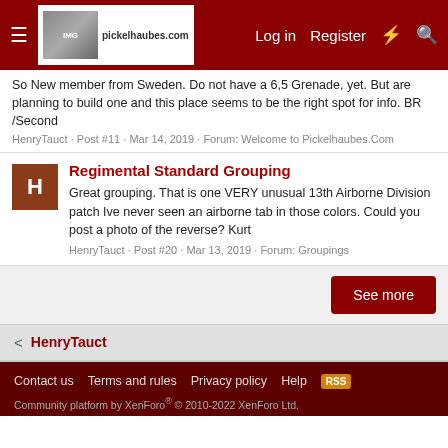pickelhaubes.com — Log in | Register
So New member from Sweden. Do not have a 6,5 Grenade, yet. But are planning to build one and this place seems to be the right spot for info. BR /Second
HenryTauct · Post #11 · Mar 14, 2019 · Forum: Welcome to Pickelhaubes.Com
Regimental Standard Grouping
Great grouping. That is one VERY unusual 13th Airborne Division patch Ive never seen an airborne tab in those colors. Could you post a photo of the reverse? Kurt
HenryTauct · Post #20 · Mar 13, 2019 · Forum: Groupings
See more
HenryTauct
Contact us   Terms and rules   Privacy policy   Help   Community platform by XenForo® © 2010-2022 XenForo Ltd.